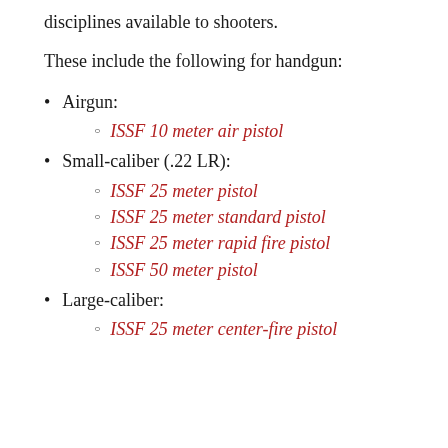disciplines available to shooters.
These include the following for handgun:
Airgun:
ISSF 10 meter air pistol
Small-caliber (.22 LR):
ISSF 25 meter pistol
ISSF 25 meter standard pistol
ISSF 25 meter rapid fire pistol
ISSF 50 meter pistol
Large-caliber:
ISSF 25 meter center-fire pistol